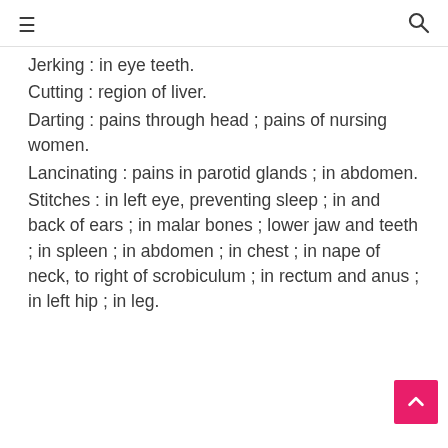≡  🔍
Jerking : in eye teeth.
Cutting : region of liver.
Darting : pains through head ; pains of nursing women.
Lancinating : pains in parotid glands ; in abdomen.
Stitches : in left eye, preventing sleep ; in and back of ears ; in malar bones ; lower jaw and teeth ; in spleen ; in abdomen ; in chest ; in nape of neck, to right of scrobiculum ; in rectum and anus ; in left hip ; in leg.